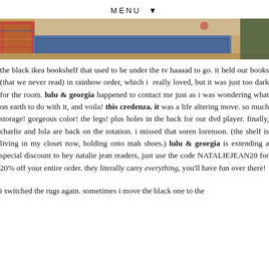MENU ▼
[Figure (photo): Photo of rugs on a wooden floor, with a blue patterned rug visible in the center and colorful rugs on the left, green wall/furniture on the right.]
the black ikea bookshelf that used to be under the tv haaaad to go. it held our books (that we never read) in rainbow order, which i really loved, but it was just too dark for the room. lulu & georgia happened to contact me just as i was wondering what on earth to do with it, and voila! this credenza. it was a life altering move. so much storage! gorgeous color! the legs! plus holes in the back for our dvd player. finally, charlie and lola are back on the rotation. i missed that soren lorenson. (the shelf is living in my closet now, holding onto mah shoes.) lulu & georgia is extending a special discount to hey natalie jean readers, just use the code NATALIEJEAN20 for 20% off your entire order. they literally carry everything, you'll have fun over there!
i switched the rugs again. sometimes i move the black one to the